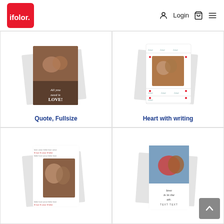[Figure (screenshot): ifolor logo - red square with white text 'ifolor.' in bottom left]
Login
[Figure (screenshot): Website screenshot showing a 2x2 grid of greeting card products: Quote Fullsize, Heart with writing, and two unlabeled cards below]
Quote, Fullsize
Heart with writing